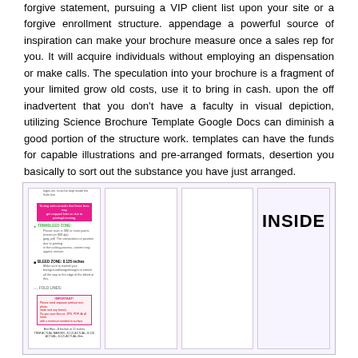forgive statement, pursuing a VIP client list upon your site or a forgive enrollment structure. appendage a powerful source of inspiration can make your brochure measure once a sales rep for you. It will acquire individuals without employing an dispensation or make calls. The speculation into your brochure is a fragment of your limited grow old costs, use it to bring in cash. upon the off inadvertent that you don't have a faculty in visual depiction, utilizing Science Brochure Template Google Docs can diminish a good portion of the structure work. templates can have the funds for capable illustrations and pre-arranged formats, desertion you basically to sort out the substance you have just arranged.
[Figure (illustration): A brochure template layout showing four panels side by side. The leftmost panel contains zone guide information with colored labels (cyan, green, black, gray) indicating different zones such as SAFE ZONE, TRIM/BLEED ZONE, BLEED ZONE, with descriptive text, highlighted pink text bar, a warning box with red border, and bottom measurement notes. The second and third panels are blank white. The rightmost panel has a light purple background with the bold text 'INSIDE' centered near the top.]